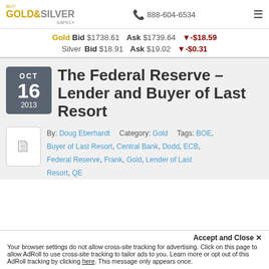Buy Gold & Silver Safely | 888-604-6534
Gold Bid $1738.61 Ask $1739.64 ▼-$18.59
Silver Bid $18.91 Ask $19.02 ▼-$0.31
The Federal Reserve – Lender and Buyer of Last Resort
OCT 16 2013
By: Doug Eberhardt  Category: Gold  Tags: BOE, Buyer of Last Resort, Central Bank, Dodd, ECB, Federal Reserve, Frank, Gold, Lender of Last Resort, QE
Accept and Close ✕ Your browser settings do not allow cross-site tracking for advertising. Click on this page to allow AdRoll to use cross-site tracking to tailor ads to you. Learn more or opt out of this AdRoll tracking by clicking here. This message only appears once.